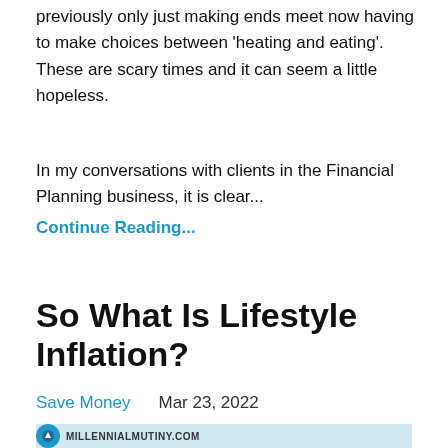previously only just making ends meet now having to make choices between 'heating and eating'. These are scary times and it can seem a little hopeless.
In my conversations with clients in the Financial Planning business, it is clear...
Continue Reading...
So What Is Lifestyle Inflation?
Save Money    Mar 23, 2022
[Figure (other): Image banner showing MILLENNIALMUTINY.COM logo with circular icon]